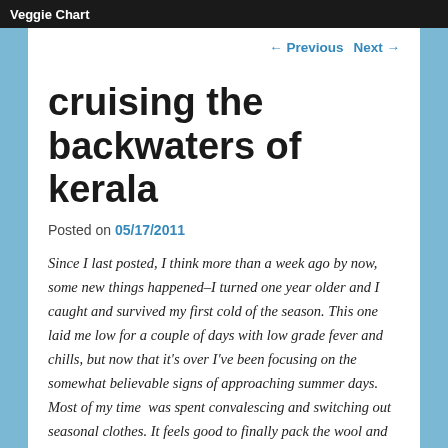Veggie Chart
← Previous   Next →
cruising the backwaters of kerala
Posted on 05/17/2011
Since I last posted, I think more than a week ago by now, some new things happened–I turned one year older and I caught and survived my first cold of the season. This one laid me low for a couple of days with low grade fever and chills, but now that it's over I've been focusing on the somewhat believable signs of approaching summer days. Most of my time  was spent convalescing and switching out seasonal clothes. It feels good to finally pack the wool and long-johns away for a few months! At this point I'm